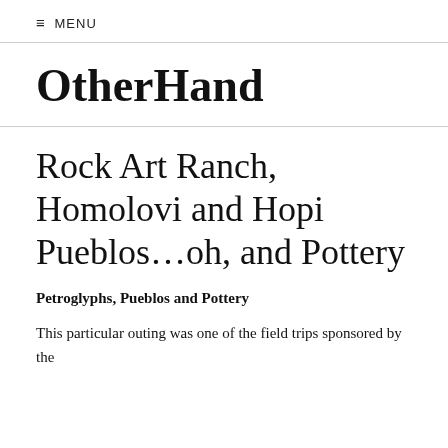≡ MENU
OtherHand
Rock Art Ranch, Homolovi and Hopi Pueblos…oh, and Pottery
Petroglyphs, Pueblos and Pottery
This particular outing was one of the field trips sponsored by the